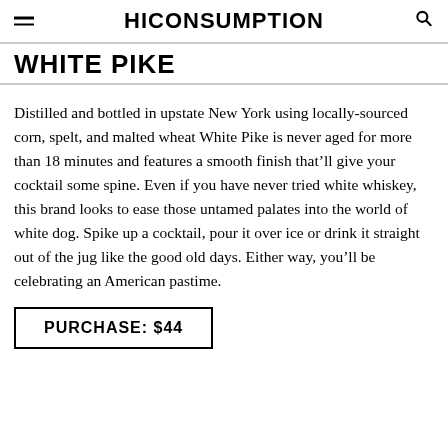HICONSUMPTION
WHITE PIKE
Distilled and bottled in upstate New York using locally-sourced corn, spelt, and malted wheat White Pike is never aged for more than 18 minutes and features a smooth finish that’ll give your cocktail some spine. Even if you have never tried white whiskey, this brand looks to ease those untamed palates into the world of white dog. Spike up a cocktail, pour it over ice or drink it straight out of the jug like the good old days. Either way, you’ll be celebrating an American pastime.
PURCHASE: $44